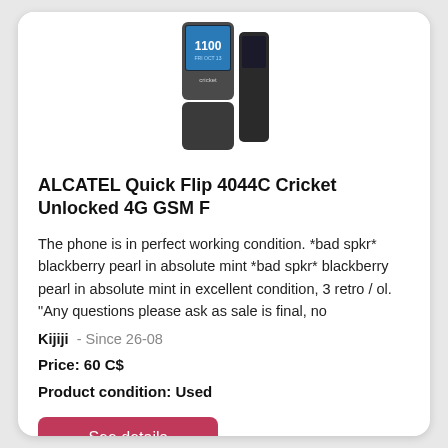[Figure (photo): Alcatel Quick Flip 4044C flip phone shown closed, dark grey color, with Cricket branding visible on the front]
ALCATEL Quick Flip 4044C Cricket Unlocked 4G GSM F
The phone is in perfect working condition. *bad spkr* blackberry pearl in absolute mint *bad spkr* blackberry pearl in absolute mint in excellent condition, 3 retro / ol. "Any questions please ask as sale is final, no
Kijiji  - Since 26-08
Price: 60 C$
Product condition: Used
See details